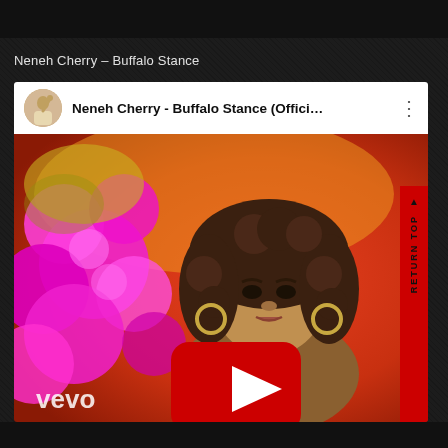Neneh Cherry – Buffalo Stance
[Figure (screenshot): YouTube video embed showing Neneh Cherry - Buffalo Stance (Offici... music video thumbnail. The thumbnail shows a woman with curly hair and hoop earrings against a colorful floral background. A red YouTube play button is overlaid in the center. The video header shows a circular avatar and the channel name. A 'vevo' watermark appears at the bottom left. A red 'RETURN TOP' sidebar appears at the right edge.]